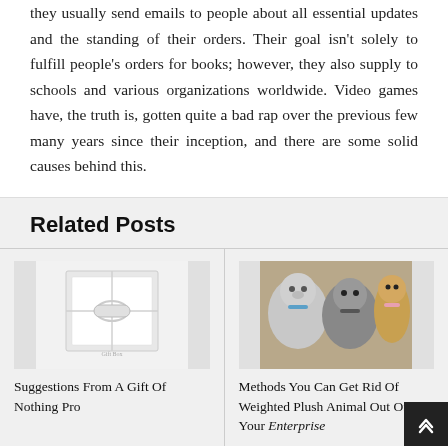they usually send emails to people about all essential updates and the standing of their orders. Their goal isn't solely to fulfill people's orders for books; however, they also supply to schools and various organizations worldwide. Video games have, the truth is, gotten quite a bad rap over the previous few many years since their inception, and there are some solid causes behind this.
Related Posts
[Figure (photo): A white gift box with a white ribbon bow on a light background.]
Suggestions From A Gift Of Nothing Pro
[Figure (photo): Several stuffed plush animal toys including a cat, dalmatian, and bear with colorful accessories.]
Methods You Can Get Rid Of Weighted Plush Animal Out Of Your Enterprise